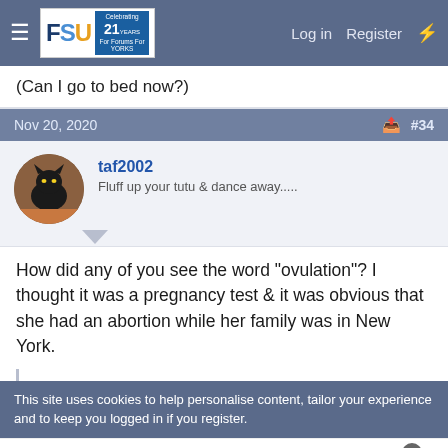[Figure (screenshot): Forum navigation bar with FSU logo, Log in and Register links]
(Can I go to bed now?)
Nov 20, 2020  #34
[Figure (photo): Avatar of user taf2002 showing a black cat]
taf2002
Fluff up your tutu & dance away.....
How did any of you see the word "ovulation"? I thought it was a pregnancy test & it was obvious that she had an abortion while her family was in New York.
This site uses cookies to help personalise content, tailor your experience and to keep you logged in if you register.
[Figure (screenshot): Advertisement for Cheryl's Cookie Delivery showing cookies and brownies]